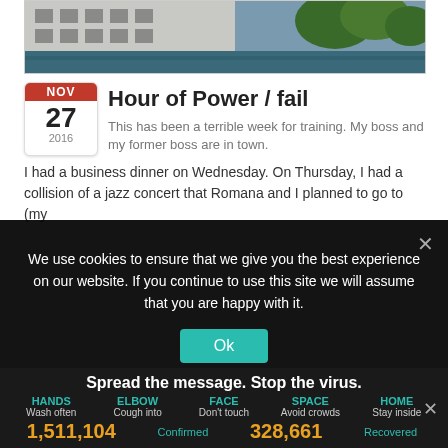[Figure (photo): Outdoor photo showing a building with windows and a body of water with trees in the background]
Hour of Power / fail
This has been a terrible week for training. My boss and my former boss are in town.
I had a business dinner on Wednesday. On Thursday, I had a collision of a jazz concert that Romana and I planned to go to (my
We use cookies to ensure that we give you the best experience on our website. If you continue to use this site we will assume that you are happy with it.
Spread the message. Stop the virus.
HANDS Wash often   ELBOW Cough into   FACE Don't touch   SPACE Avoid crowds   HOME Stay inside
1,511,104 Confirmed   328,661 Recovered
At least I rode to work on the bike on Wednesday.
On Tuesday, I did nothing. We went to the downtown sure party. I had someone make a speech there. Had a big bind to eat. admired the photos from various team building activities, talked to